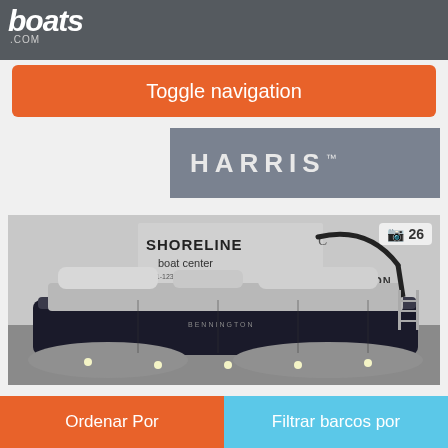boats.com
Toggle navigation
[Figure (logo): HARRIS brand logo on gray bar]
[Figure (photo): Black and silver Bennington pontoon boat displayed indoors at Shoreline Boat Center with BENNINGTON signage in background. Photo counter shows 26 photos.]
Ordenar Por
Filtrar barcos por